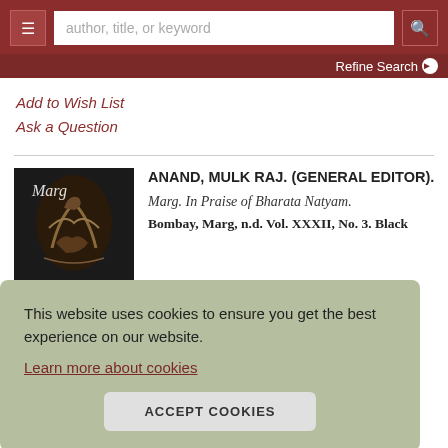author, title, or keyword | Refine Search
Add to Wish List
Ask a Question
ANAND, MULK RAJ. (GENERAL EDITOR). Marg. In Praise of Bharata Natyam. Bombay, Marg, n.d. Vol. XXXII, No. 3. Black ...
This website uses cookies to ensure you get the best experience on our website.
Learn more about cookies
ACCEPT COOKIES